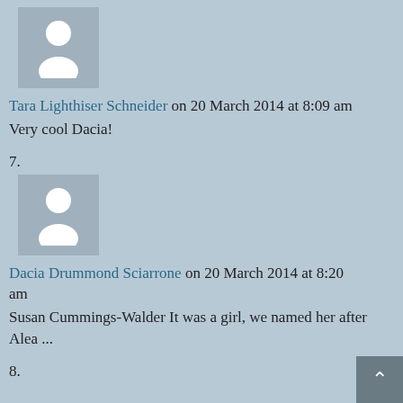[Figure (illustration): Generic user avatar placeholder image — grey square with white silhouette of a person]
Tara Lighthiser Schneider on 20 March 2014 at 8:09 am
Very cool Dacia!
7.
[Figure (illustration): Generic user avatar placeholder image — grey square with white silhouette of a person]
Dacia Drummond Sciarrone on 20 March 2014 at 8:20 am
Susan Cummings-Walder It was a girl, we named her after Alea ...
8.